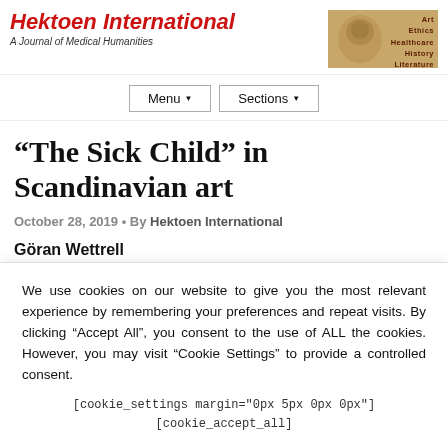Hektoen International — A Journal of Medical Humanities
“The Sick Child” in Scandinavian art
October 28, 2019 • By Hektoen International
Göran Wettrell
Sweden
We use cookies on our website to give you the most relevant experience by remembering your preferences and repeat visits. By clicking “Accept All”, you consent to the use of ALL the cookies. However, you may visit “Cookie Settings” to provide a controlled consent.
[cookie_settings margin="0px 5px 0px 0px"] [cookie_accept_all]